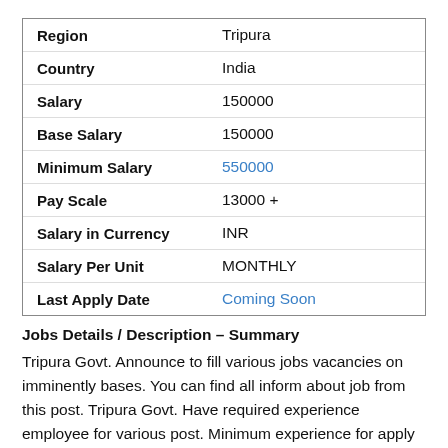| Field | Value |
| --- | --- |
| Region | Tripura |
| Country | India |
| Salary | 150000 |
| Base Salary | 150000 |
| Minimum Salary | 550000 |
| Pay Scale | 13000 + |
| Salary in Currency | INR |
| Salary Per Unit | MONTHLY |
| Last Apply Date | Coming Soon |
Jobs Details / Description – Summary
Tripura Govt. Announce to fill various jobs vacancies on imminently bases. You can find all inform about job from this post. Tripura Govt. Have required experience employee for various post. Minimum experience for apply this job 5 to 10